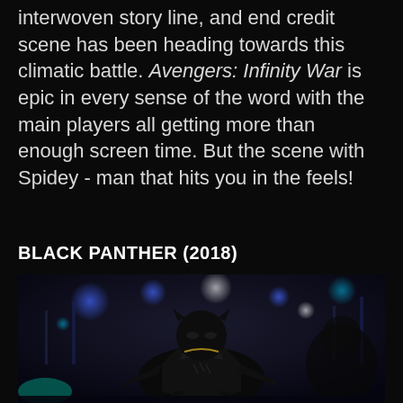interwoven story line, and end credit scene has been heading towards this climatic battle. Avengers: Infinity War is epic in every sense of the word with the main players all getting more than enough screen time. But the scene with Spidey - man that hits you in the feels!
BLACK PANTHER (2018)
[Figure (photo): Movie still from Black Panther (2018) showing the Black Panther character in a crouching pose in a dark urban nighttime setting with blue lights in the background.]